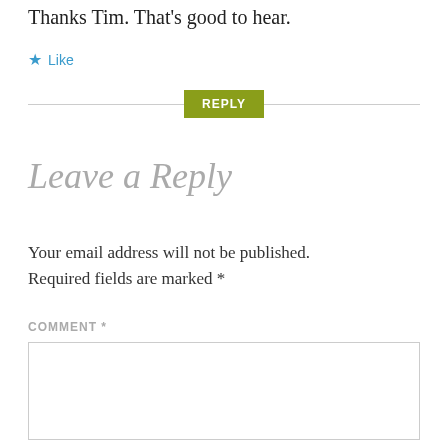Thanks Tim. That's good to hear.
★ Like
REPLY
Leave a Reply
Your email address will not be published. Required fields are marked *
COMMENT *